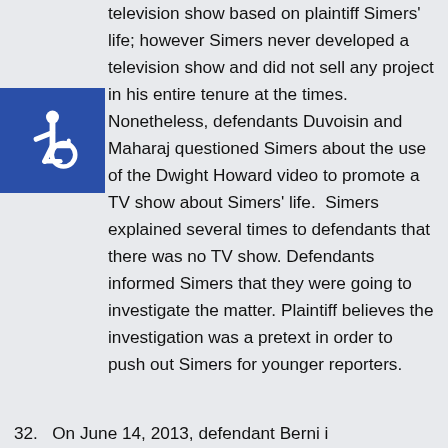television show based on plaintiff Simers' life; however Simers never developed a television show and did not sell any project in his entire tenure at the times. Nonetheless, defendants Duvoisin and Maharaj questioned Simers about the use of the Dwight Howard video to promote a TV show about Simers' life.  Simers explained several times to defendants that there was no TV show. Defendants informed Simers that they were going to investigate the matter. Plaintiff believes the investigation was a pretext in order to push out Simers for younger reporters.
[Figure (other): Accessibility wheelchair symbol icon — white wheelchair symbol on blue square background, positioned on left side of page]
32.   On June 14, 2013, defendant Berni i